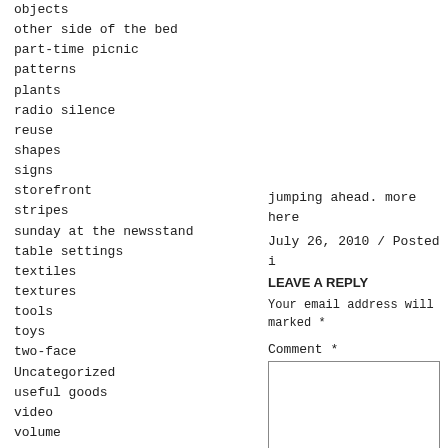objects
other side of the bed
part-time picnic
patterns
plants
radio silence
reuse
shapes
signs
storefront
stripes
sunday at the newsstand
table settings
textiles
textures
tools
toys
two-face
Uncategorized
useful goods
video
volume
jumping ahead. more here
July 26, 2010 / Posted i
LEAVE A REPLY
Your email address will
marked *
Comment *